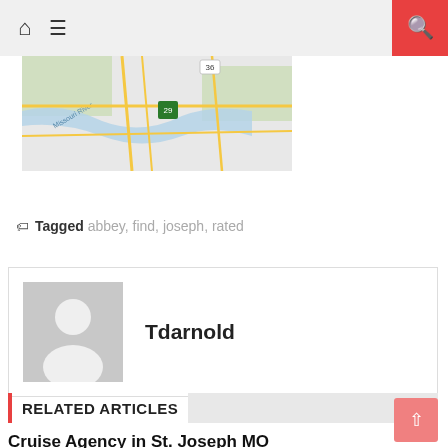Home | Menu | Search
[Figure (map): Street map showing Missouri River area with highway 36 and 29 visible]
Tagged abbey, find, joseph, rated
Tdarnold
RELATED ARTICLES
Cruise Agency in St. Joseph MO
June 30, 2017   tdarnold
Cruise Agency in St. Joseph MO If you live in or near St. Joseph MO and